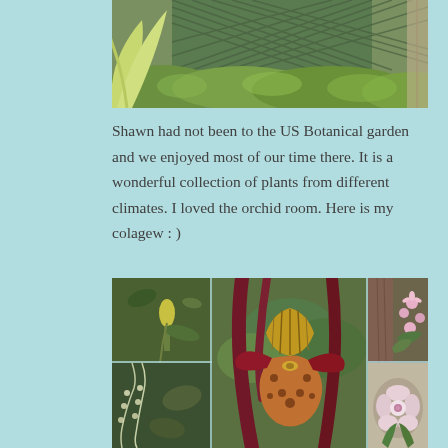[Figure (photo): Photograph of a garden with green lattice fence/trellis, lush green plants and foliage in front of it, and a large-leafed plant on the left side.]
Shawn had not been to the US Botanical garden and we enjoyed most of our time there. It is a wonderful collection of plants from different climates. I loved the orchid room. Here is my colagew : )
[Figure (photo): A collage of orchid photographs from the US Botanical Garden orchid room, showing various orchid species including a large central slipper orchid (Paphiopedilum) with maroon and yellow coloring, a small yellow orchid bud on the upper left, hanging white orchid sprays on the lower left, and pink/white orchids on the right side.]